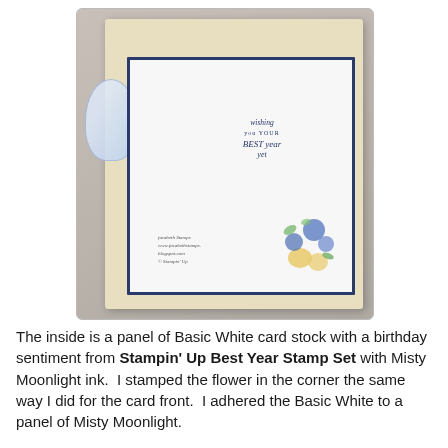[Figure (photo): Photo of an open greeting card showing the inside panel. The card has a Basic White panel with a dark navy blue border, a calligraphy sentiment reading 'wishing you YOUR BEST year yet' in Misty Moonlight ink, and watercolor flowers (blue and yellow) stamped in the bottom right corner. A floral patterned element is visible on the left side. The card sits on a gray background. Watermark text reads 'farabeth Stamps / www.farabethstamps. / blogspot.com / © Stampin' Up']
The inside is a panel of Basic White card stock with a birthday sentiment from Stampin' Up Best Year Stamp Set with Misty Moonlight ink.  I stamped the flower in the corner the same way I did for the card front.  I adhered the Basic White to a panel of Misty Moonlight.